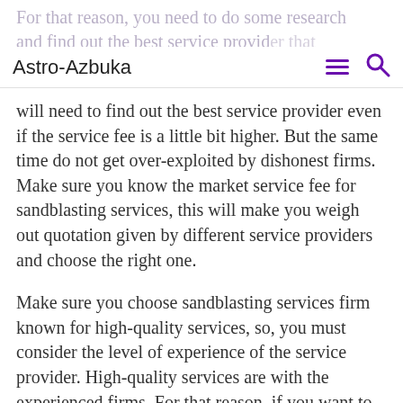Astro-Azbuka
will need to find out the best service provider even if the service fee is a little bit higher. But the same time do not get over-exploited by dishonest firms. Make sure you know the market service fee for sandblasting services, this will make you weigh out quotation given by different service providers and choose the right one.
Make sure you choose sandblasting services firm known for high-quality services, so, you must consider the level of experience of the service provider. High-quality services are with the experienced firms. For that reason, if you want to hire an ideal firm in the market, you will need to find out one that is more experienced in this line. To find the best one